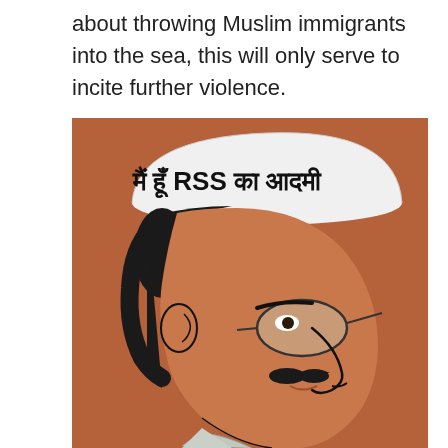about throwing Muslim immigrants into the sea, this will only serve to incite further violence.
[Figure (illustration): A political cartoon illustration showing a man in profile (side view, facing right) wearing a white Gandhi cap (topi) with Hindi text and 'RSS' written on it reading 'मैं हूँ RSS का आदमी'. The man has dark hair, a mustache, glasses, and brown/tan skin. The background is a warm reddish-brown/terracotta color. The art style is a flat vector/cartoon illustration.]